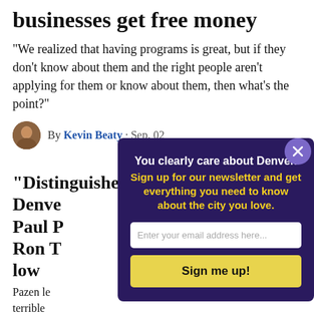businesses get free money
"We realized that having programs is great, but if they don't know about them and the right people aren't applying for them or know about them, then what's the point?"
By Kevin Beaty · Sep. 02
“Distinguished,” “loyal,” “failure”: Denve... Paul P... Ron T... low
Pazen le... terrible
By K...
CU De...
[Figure (other): Newsletter signup modal overlay with dark purple background. Text: 'You clearly care about Denver. Sign up for our newsletter and get everything you need to know about the city you love.' Email input field and 'Sign me up!' button. Close button (X) in top-right corner.]